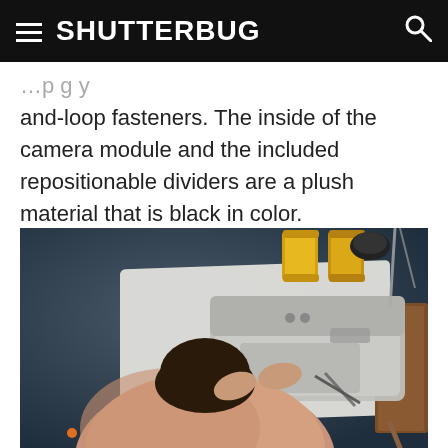SHUTTERBUG
and-loop fasteners. The inside of the camera module and the included repositionable dividers are a plush material that is black in color.
[Figure (photo): Overhead/top-down view of a person working at a sewing machine on a white fabric surface, with yellow thread spools visible in the upper right. The person is wearing a salmon/peach colored sweater and is feeding material through the machine. Dark blue-grey workshop background.]